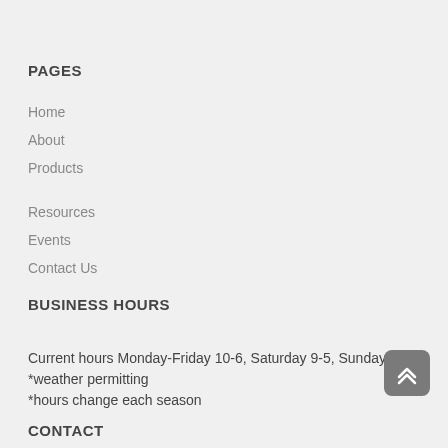PAGES
Home
About
Products
Resources
Events
Contact Us
BUSINESS HOURS
Current hours Monday-Friday 10-6, Saturday 9-5, Sunday 10-5
*weather permitting
*hours change each season
CONTACT